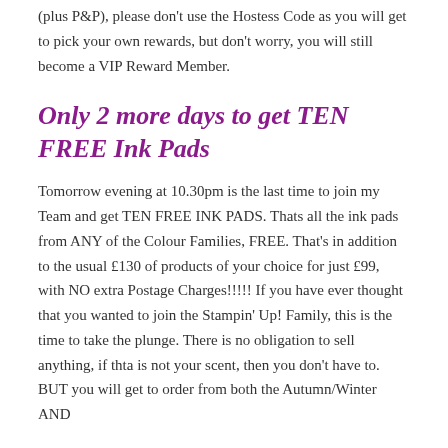(plus P&P), please don't use the Hostess Code as you will get to pick your own rewards, but don't worry, you will still become a VIP Reward Member.
Only 2 more days to get TEN FREE Ink Pads
Tomorrow evening at 10.30pm is the last time to join my Team and get TEN FREE INK PADS. Thats all the ink pads from ANY of the Colour Families, FREE. That's in addition to the usual £130 of products of your choice for just £99, with NO extra Postage Charges!!!!! If you have ever thought that you wanted to join the Stampin' Up! Family, this is the time to take the plunge. There is no obligation to sell anything, if thta is not your scent, then you don't have to. BUT you will get to order from both the Autumn/Winter AND